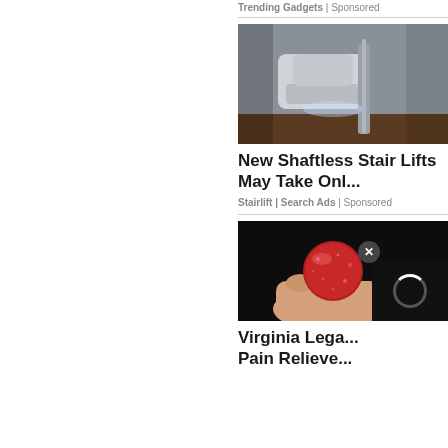Trending Gadgets | Sponsored
[Figure (photo): Photo of a stair lift chair at the bottom of a staircase, viewed from below]
New Shaftless Stair Lifts May Take Onl...
Stairlift | Search Ads | Sponsored
[Figure (photo): Hand holding a red sugary candy gummy against a dark background]
Virginia Lega... Pain Relieve...